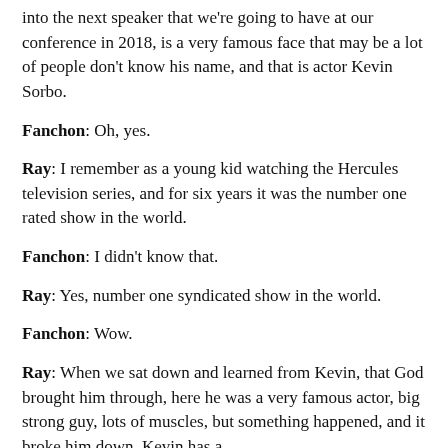into the next speaker that we're going to have at our conference in 2018, is a very famous face that may be a lot of people don't know his name, and that is actor Kevin Sorbo.
Fanchon: Oh, yes.
Ray: I remember as a young kid watching the Hercules television series, and for six years it was the number one rated show in the world.
Fanchon: I didn't know that.
Ray: Yes, number one syndicated show in the world.
Fanchon: Wow.
Ray: When we sat down and learned from Kevin, that God brought him through, here he was a very famous actor, big strong guy, lots of muscles, but something happened, and it broke him down. Kevin has a